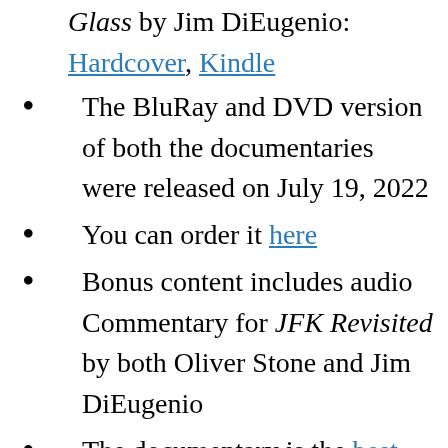Glass by Jim DiEugenio: Hardcover, Kindle
The BluRay and DVD version of both the documentaries were released on July 19, 2022
You can order it here
Bonus content includes audio Commentary for JFK Revisited by both Oliver Stone and Jim DiEugenio
The documentary is the best-selling bluray/dvd on amazon for three weeks now